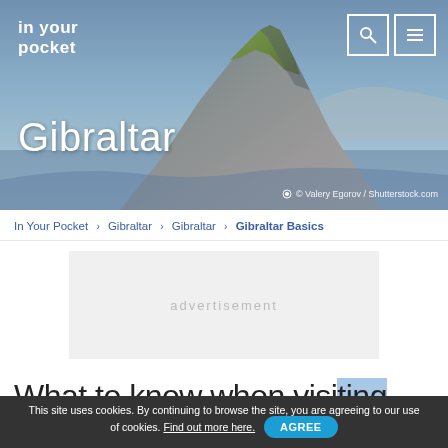[Figure (photo): Hero photo of the Rock of Gibraltar with sky background. Logo 'in your pocket' in top-left, search and menu icons top-right, 'Gibraltar' title text overlaid bottom-left, photo credit bottom-right.]
In Your Pocket › Gibraltar › Gibraltar › Gibraltar Basics
[Figure (other): Advertisement placeholder box with light grey background and 'advertisement' text in grey]
What to know when visiting
This site uses cookies. By continuing to browse the site, you are agreeing to our use of cookies. Find out more here. AGREE